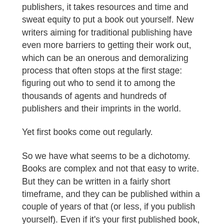publishers, it takes resources and time and sweat equity to put a book out yourself. New writers aiming for traditional publishing have even more barriers to getting their work out, which can be an onerous and demoralizing process that often stops at the first stage: figuring out who to send it to among the thousands of agents and hundreds of publishers and their imprints in the world.
Yet first books come out regularly.
So we have what seems to be a dichotomy. Books are complex and not that easy to write. But they can be written in a fairly short timeframe, and they can be published within a couple of years of that (or less, if you publish yourself). Even if it's your first published book, and even if you go the time-consuming traditional route.
How do we explain that? I think it's because books are art. And because people need books. Not every person, but enough of us that we keep the whole industry afloat and new books coming out.